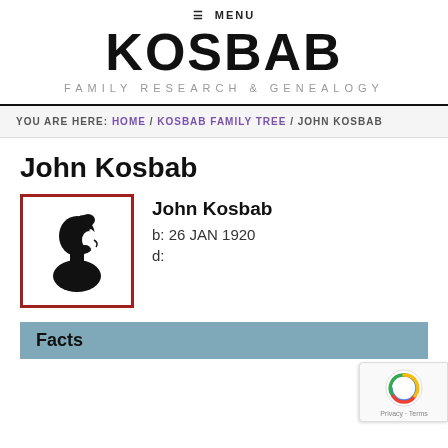☰ MENU
KOSBAB
FAMILY RESEARCH & GENEALOGY
YOU ARE HERE: HOME / KOSBAB FAMILY TREE / JOHN KOSBAB
John Kosbab
[Figure (illustration): Silhouette profile portrait of a person facing left, framed with a red border]
John Kosbab
b: 26 JAN 1920
d:
Facts